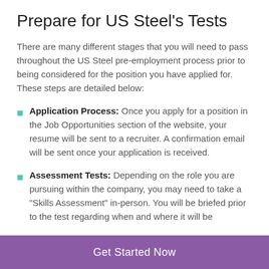Prepare for US Steel's Tests
There are many different stages that you will need to pass throughout the US Steel pre-employment process prior to being considered for the position you have applied for. These steps are detailed below:
Application Process: Once you apply for a position in the Job Opportunities section of the website, your resume will be sent to a recruiter. A confirmation email will be sent once your application is received.
Assessment Tests: Depending on the role you are pursuing within the company, you may need to take a "Skills Assessment" in-person. You will be briefed prior to the test regarding when and where it will be
Get Started Now